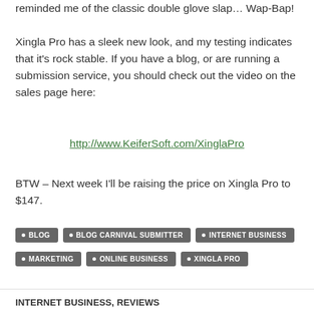reminded me of the classic double glove slap… Wap-Bap!
Xingla Pro has a sleek new look, and my testing indicates that it's rock stable.  If you have a blog, or are running a submission service, you should check out the video on the sales page here:
http://www.KeiferSoft.com/XinglaPro
BTW – Next week I'll be raising the price on Xingla Pro to $147.
BLOG
BLOG CARNIVAL SUBMITTER
INTERNET BUSINESS
MARKETING
ONLINE BUSINESS
XINGLA PRO
INTERNET BUSINESS, REVIEWS